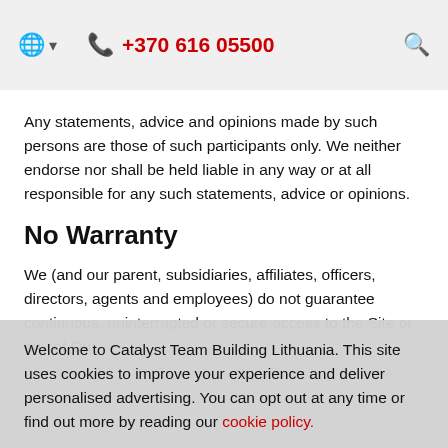+370 616 05500
Any statements, advice and opinions made by such persons are those of such participants only. We neither endorse nor shall be held liable in any way or at all responsible for any such statements, advice or opinions.
No Warranty
We (and our parent, subsidiaries, affiliates, officers, directors, agents and employees) do not guarantee continuous, uninterrupted or secure access to the Site or any of Our Services, and operation of the Site may be interfered with by
Welcome to Catalyst Team Building Lithuania. This site uses cookies to improve your experience and deliver personalised advertising. You can opt out at any time or find out more by reading our cookie policy.